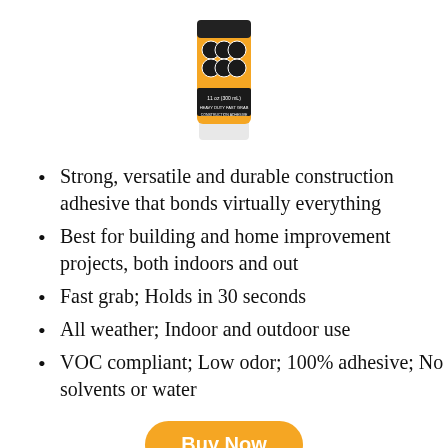[Figure (photo): Product photo of an orange and white construction adhesive container/tube]
Strong, versatile and durable construction adhesive that bonds virtually everything
Best for building and home improvement projects, both indoors and out
Fast grab; Holds in 30 seconds
All weather; Indoor and outdoor use
VOC compliant; Low odor; 100% adhesive; No solvents or water
Buy Now
10. USA GEAR CARRYING CASE COMPATIBLE